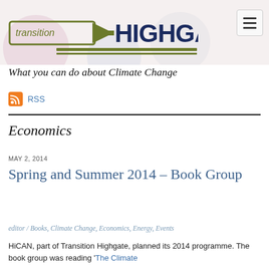[Figure (logo): Transition Highgate logo with arrow graphic and olive/dark green horizontal rules beneath]
What you can do about Climate Change
RSS
Economics
MAY 2, 2014
Spring and Summer 2014 – Book Group
editor / Books, Climate Change, Economics, Energy, Events
HiCAN, part of Transition Highgate, planned its 2014 programme. The book group was reading 'The Climate